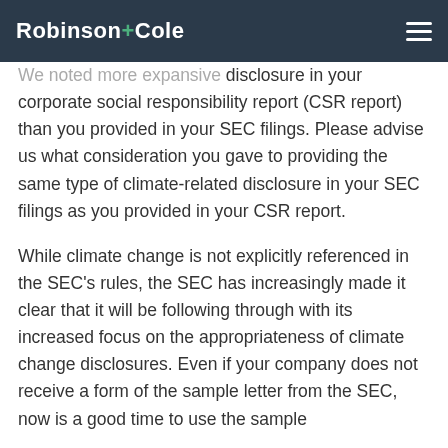Robinson+Cole
We noted more expansive disclosure in your corporate social responsibility report (CSR report) than you provided in your SEC filings. Please advise us what consideration you gave to providing the same type of climate-related disclosure in your SEC filings as you provided in your CSR report.
While climate change is not explicitly referenced in the SEC's rules, the SEC has increasingly made it clear that it will be following through with its increased focus on the appropriateness of climate change disclosures. Even if your company does not receive a form of the sample letter from the SEC, now is a good time to use the sample